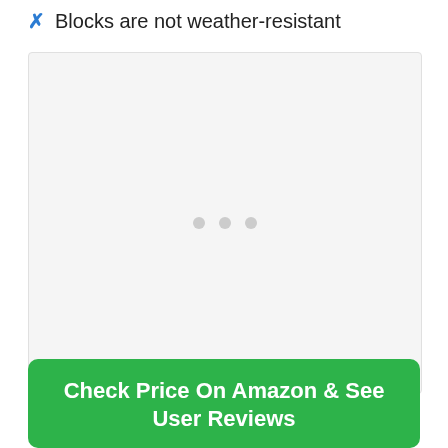Blocks are not weather-resistant
[Figure (photo): A loading placeholder or image area with three dots centered, indicating an image or content loading state]
Check Price On Amazon & See User Reviews